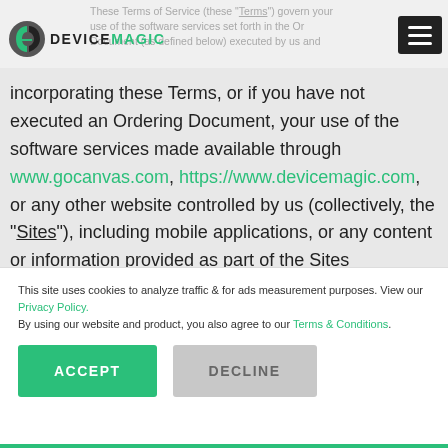These Terms of Service (these "Terms") govern your use of the software services set forth in the Ordering Document (as defined below) executed by us and
incorporating these Terms, or if you have not executed an Ordering Document, your use of the software services made available through www.gocanvas.com, https://www.devicemagic.com, or any other website controlled by us (collectively, the “Sites”), including mobile applications, or any content or information provided as part of the Sites
This site uses cookies to analyze traffic & for ads measurement purposes. View our Privacy Policy. By using our website and product, you also agree to our Terms & Conditions.